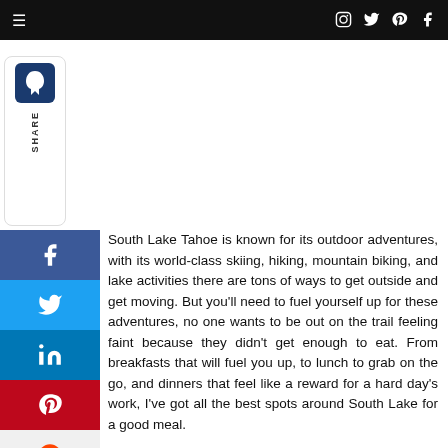≡  [social icons: Instagram, Twitter, Pinterest, Facebook]
[Figure (logo): Share sidebar with blue logo icon and vertical SHARE text]
[Figure (infographic): Social share buttons: Facebook (blue), Twitter (light blue), LinkedIn (dark blue), Pinterest (red), Reddit (light gray), Mix/Stumble (orange)]
South Lake Tahoe is known for its outdoor adventures, with its world-class skiing, hiking, mountain biking, and lake activities there are tons of ways to get outside and get moving. But you'll need to fuel yourself up for these adventures, no one wants to be out on the trail feeling faint because they didn't get enough to eat. From breakfasts that will fuel you up, to lunch to grab on the go, and dinners that feel like a reward for a hard day's work, I've got all the best spots around South Lake for a good meal.